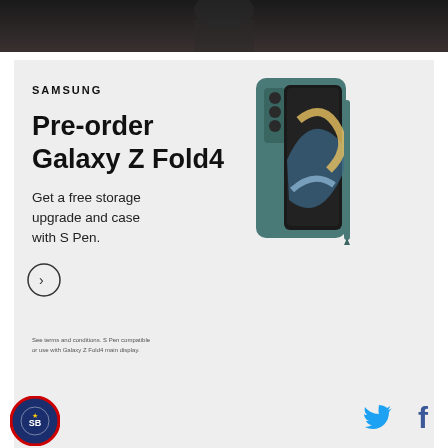[Figure (photo): Dark photo strip at top of page, showing a person in dim lighting]
[Figure (illustration): Samsung advertisement for Galaxy Z Fold4. Shows a teal/grey foldable phone with S Pen. Text reads: SAMSUNG, Pre-order Galaxy Z Fold4, Get a free storage upgrade and case with S Pen. Circle arrow button. Small disclaimer text. Powered by Concert | Feedback bar at bottom of ad.]
Tom Brady keeps adding to his legacy, and will now play in his 14th conference championship next week. The Buccaneers struggled at times against the NFC
[Figure (logo): Circular sports logo in bottom left, dark blue with red border]
[Figure (illustration): Twitter bird icon (blue) and Facebook f icon (dark) in bottom right social media icons]